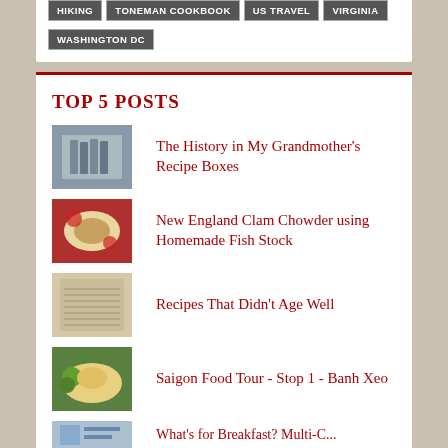HIKING
TONEMAN COOKBOOK
US TRAVEL
VIRGINIA
WASHINGTON DC
TOP 5 POSTS
The History in My Grandmother's Recipe Boxes
New England Clam Chowder using Homemade Fish Stock
Recipes That Didn't Age Well
Saigon Food Tour - Stop 1 - Banh Xeo
What's for Breakfast? Multi-C...